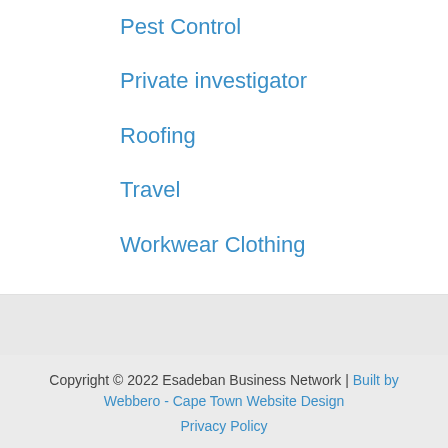Pest Control
Private investigator
Roofing
Travel
Workwear Clothing
Copyright © 2022 Esadeban Business Network | Built by Webbero - Cape Town Website Design
Privacy Policy